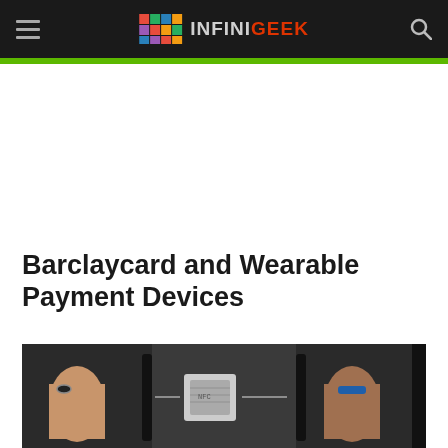INFINIGEEK
Barclaycard and Wearable Payment Devices
[Figure (photo): Three-panel image showing hands using wearable ring payment devices tapping against a dark payment terminal, with an NFC chip visible in the middle panel.]